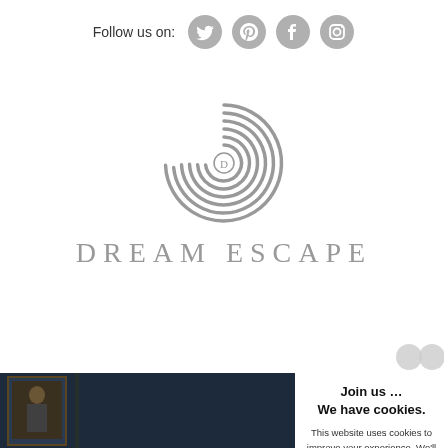Follow us on:
[Figure (logo): Dream Escape logo - circular spiral pattern in grey with letter D in center, with text DREAM ESCAPE below]
[Figure (photo): Dark interior photo with framed portrait painting visible on left, dark blue patterned wallpaper]
Join us ...
We have cookies.

This website uses cookies to improve your experience. We'll assume you're ok with this, but you can opt-out if you wish.   Settings

I like cookies